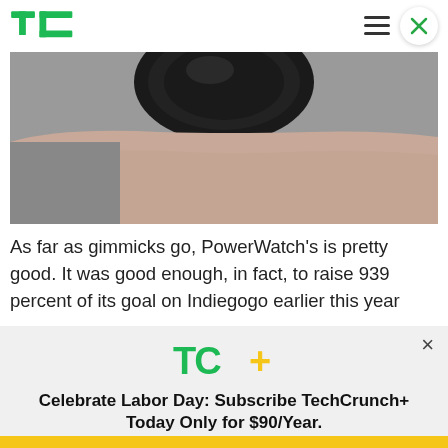TechCrunch
[Figure (photo): Close-up photo of a smartwatch (PowerWatch) on a wrist, showing a dark bezel and the wrist/skin below]
As far as gimmicks go, PowerWatch's is pretty good. It was good enough, in fact, to raise 939 percent of its goal on Indiegogo earlier this year
[Figure (logo): TC+ logo (TechCrunch Plus) with TC in green and + in yellow/gold]
Celebrate Labor Day: Subscribe TechCrunch+ Today Only for $90/Year.
GET OFFER NOW